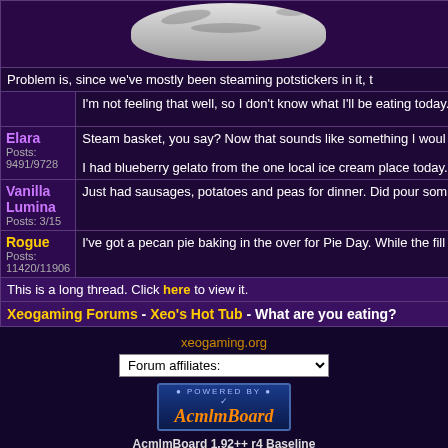[Figure (photo): Partial view of a round metallic or glass object (possibly a wok or pan lid) shown from above]
Problem is, since we've mostly been steaming potstickers in it, t
I'm not feeling that well, so I don't know what I'll be eating today.
Elara
Posts: 9491/9728
Steam basket, you say? Now that sounds like something I woul
I had blueberry gelato from the one local ice cream place today.
Vanilla Lumina
Posts: 3/15
Just had sausages, potatoes and peas for dinner. Did pour som
Rogue
Posts: 11420/11906
I've got a pecan pie baking in the over for Pie Day. While the fill
This is a long thread. Click here to view it.
Xeogaming Forums - Xeo's Hot Tub - What are you eating?
xeogaming.org
Forum affiliates:
[Figure (logo): Powered by AcmlmBoard badge/logo with blue background and orange AcmlmBoard text]
AcmlmBoard 1.92++ r4 Baseline
?2000-2013 Acmlm, Emuz, Blades, Xkeeper, DarkSlaya*, Lord Alexander*
*Unofficial Updates
Page rendered in 0.154 seconds.
0.040